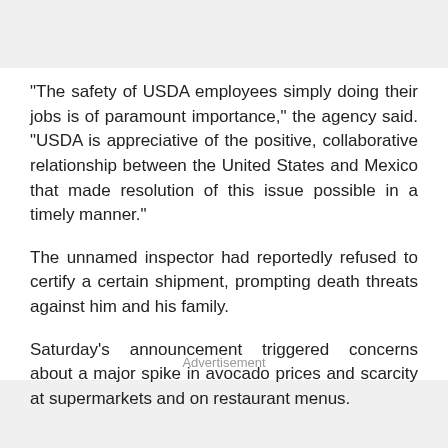"The safety of USDA employees simply doing their jobs is of paramount importance," the agency said. "USDA is appreciative of the positive, collaborative relationship between the United States and Mexico that made resolution of this issue possible in a timely manner."
The unnamed inspector had reportedly refused to certify a certain shipment, prompting death threats against him and his family.
Saturday's announcement triggered concerns about a major spike in avocado prices and scarcity at supermarkets and on restaurant menus.
Advertisement